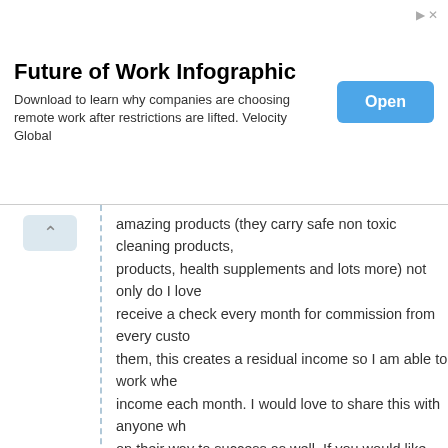[Figure (other): Advertisement banner for Future of Work Infographic by Velocity Global with Open button]
amazing products (they carry safe non toxic cleaning products, products, health supplements and lots more) not only do I love receive a check every month for commission from every custo them, this creates a residual income so I am able to work whe income each month. I would love to share this with anyone wh on their way to success as well. If you would like some info yo email. Emloosli@hotmail.com Thanks!
REPLY
Natalie Snedaker says
JANUARY 18, 2013 AT 6:32 PM
This is a great list! I have found an awesome company to work Green. They help educate families on being healthier. I adverti money. There is NO investment and you don't sell anything. I h My checks range from $200-$1500 a month. I usually work be